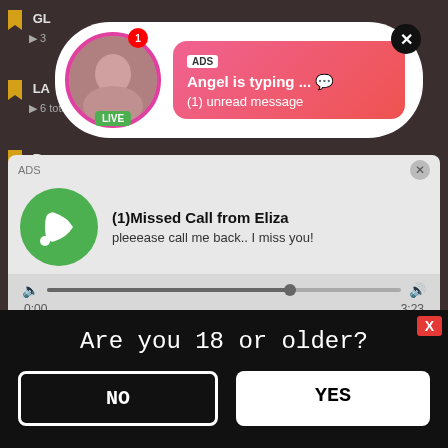GL
3
LA
6 total
[Figure (screenshot): Ad popup notification: profile picture with LIVE badge, 'ADS' label, 'Angel is typing ... 💬', '(1) unread message']
B
6
B
12
[Figure (screenshot): Ad audio player popup: 'ADS', '(1)Missed Call from Eliza', 'pleeease call me back.. I miss you!', progress bar, times 0:00 / 3:23, playback controls]
U
10 total
FRENCH
39 total
NUDIS
13 total
[Figure (screenshot): Age verification popup: 'Are you 18 or older?' with NO and YES buttons, X close button]